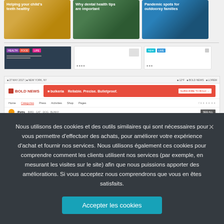[Figure (screenshot): Screenshot of a news website showing article cards with titles 'Helping your child's teeth healthy', 'Why dental health tips are important', and 'Pandemic spots for outdoorsy families', followed by widget rows and a BoldNews website section with a therapy dog article]
Nous utilisons des cookies et des outils similaires qui sont nécessaires pour vous permettre d'effectuer des achats, pour améliorer votre expérience d'achat et fournir nos services. Nous utilisons également ces cookies pour comprendre comment les clients utilisent nos services (par exemple, en mesurant les visites sur le site) afin que nous puissions apporter des améliorations. Si vous acceptez nous comprendrons que vous en êtes satisfaits.
Accepter les cookies